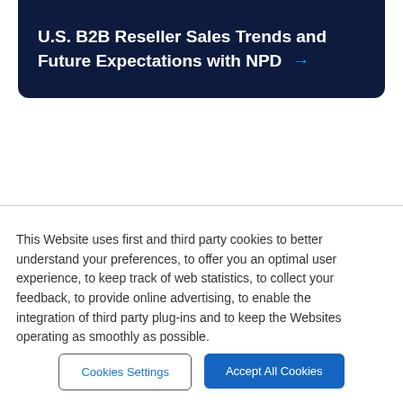U.S. B2B Reseller Sales Trends and Future Expectations with NPD →
This Website uses first and third party cookies to better understand your preferences, to offer you an optimal user experience, to keep track of web statistics, to collect your feedback, to provide online advertising, to enable the integration of third party plug-ins and to keep the Websites operating as smoothly as possible.
Cookies Settings
Accept All Cookies